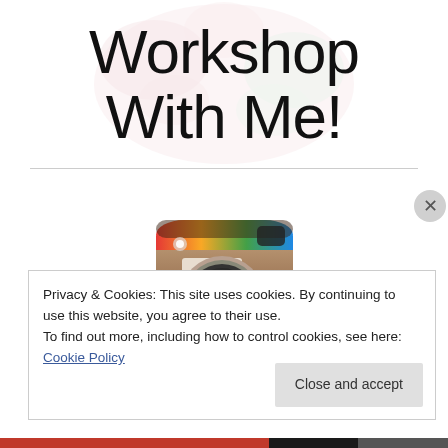Workshop With Me!
[Figure (logo): Instagram app icon showing a camera with colorful stripe on top]
Privacy & Cookies: This site uses cookies. By continuing to use this website, you agree to their use.
To find out more, including how to control cookies, see here: Cookie Policy
Close and accept